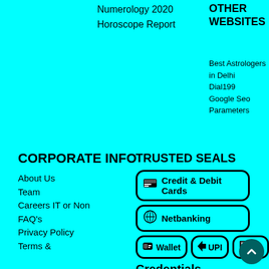Numerology 2020
Horoscope Report
OTHER WEBSITES
Best Astrologers in Delhi
Dial199
Google Seo Parameters
CORPORATE INFO
About Us
Team
Careers IT or Non
FAQ's
Privacy Policy
Terms &
TRUSTED SEALS
Credit & Debit Cards
Netbanking
Wallet
UPI
QR
Credentials
[Figure (logo): ISO 27001:2013 Certified badge]
[Figure (logo): McAfee Secure badge]